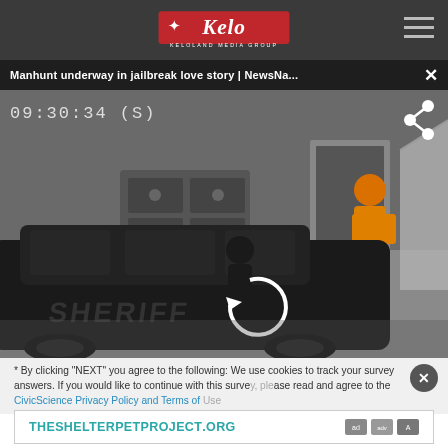[Figure (logo): Kelo / Keloland Media Group logo on dark grey navigation bar with hamburger menu icon on right]
Manhunt underway in jailbreak love story | NewsNa... ×
[Figure (screenshot): Surveillance camera footage showing a sheriff's vehicle parked inside a building, a person in orange inmate clothing near a doorway, timestamp 09:30:34 (S) visible in upper left, share icon in upper right]
* By clicking "NEXT" you agree to the following: We use cookies to track your survey answers. If you would like to continue with this survey please read and agree to the CivicScience Privacy Policy and Terms of Use
[Figure (other): Advertisement banner for THESHELTERPETPROJECT.ORG with ad network logos]